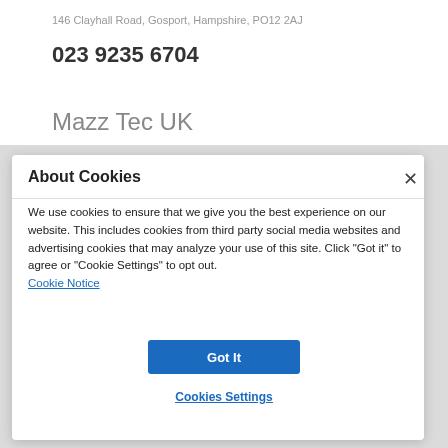146 Clayhall Road, Gosport, Hampshire, PO12 2AJ
023 9235 6704
Mazz Tec UK
About Cookies
We use cookies to ensure that we give you the best experience on our website. This includes cookies from third party social media websites and advertising cookies that may analyze your use of this site. Click "Got it" to agree or "Cookie Settings" to opt out.
Cookie Notice
Got It
Cookies Settings